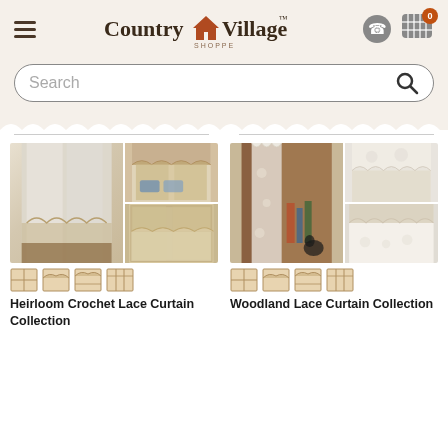Country Village Shoppe - navigation header with hamburger menu, logo, phone icon, and basket icon showing 0 items
Search
[Figure (screenshot): Heirloom Crochet Lace Curtain Collection product image showing lace curtains in a window setting, with thumbnail icons below]
Heirloom Crochet Lace Curtain Collection
[Figure (screenshot): Woodland Lace Curtain Collection product image showing lace curtains and valance in a room setting, with thumbnail icons below]
Woodland Lace Curtain Collection